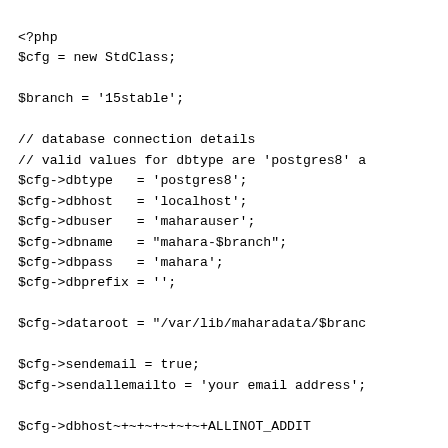<?php
$cfg = new StdClass;

$branch = '15stable';

// database connection details
// valid values for dbtype are 'postgres8' a
$cfg->dbtype   = 'postgres8';
$cfg->dbhost   = 'localhost';
$cfg->dbuser   = 'maharauser';
$cfg->dbname   = "mahara-$branch";
$cfg->dbpass   = 'mahara';
$cfg->dbprefix = '';

$cfg->dataroot = "/var/lib/maharadata/$branc

$cfg->sendemail = true;
$cfg->sendallemailto = 'your email address';

$cfg->dbhost~+~+~+~+~+~+ALLINOT_ADDIT